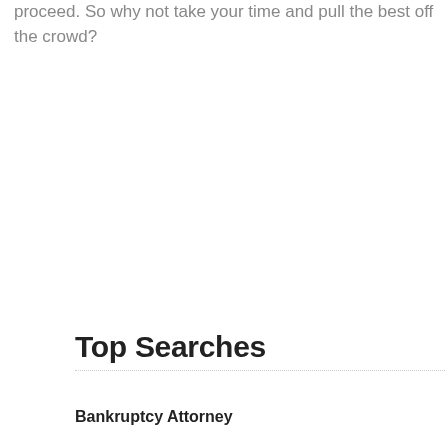proceed. So why not take your time and pull the best off the crowd?
Top Searches
Bankruptcy Attorney